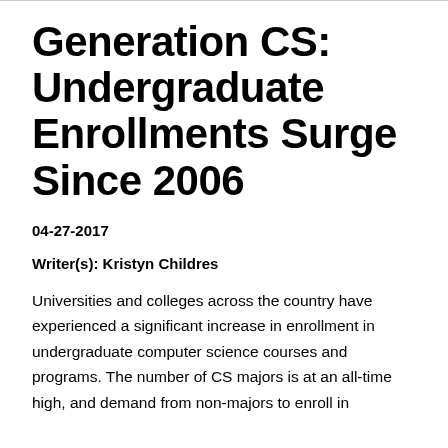Generation CS: Undergraduate Enrollments Surge Since 2006
04-27-2017
Writer(s): Kristyn Childres
Universities and colleges across the country have experienced a significant increase in enrollment in undergraduate computer science courses and programs. The number of CS majors is at an all-time high, and demand from non-majors to enroll in